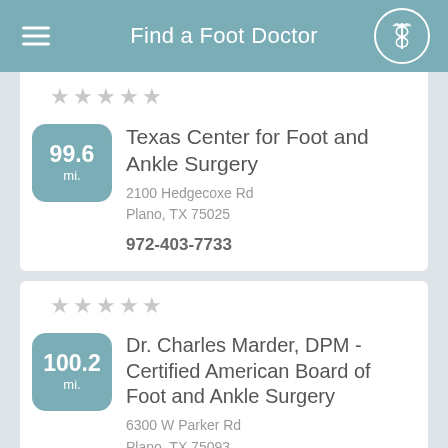Find a Foot Doctor
★★★★★ (empty stars)
99.6 mi. — Texas Center for Foot and Ankle Surgery
2100 Hedgecoxe Rd
Plano, TX 75025
972-403-7733
★★★★★ (empty stars)
100.2 mi. — Dr. Charles Marder, DPM - Certified American Board of Foot and Ankle Surgery
6300 W Parker Rd
Plano, TX 75093